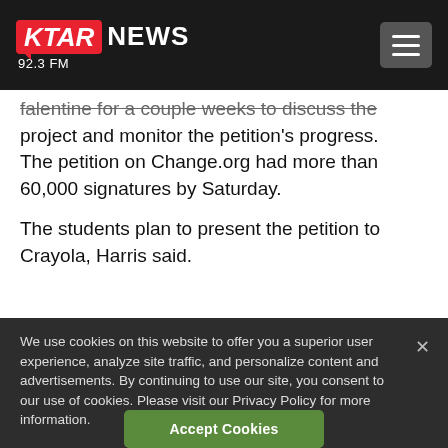KTAR NEWS 92.3 FM
falentine for a couple weeks to discuss the project and monitor the petition's progress. The petition on Change.org had more than 60,000 signatures by Saturday.
The students plan to present the petition to Crayola, Harris said.
We use cookies on this website to offer you a superior user experience, analyze site traffic, and personalize content and advertisements. By continuing to use our site, you consent to our use of cookies. Please visit our Privacy Policy for more information.
Accept Cookies